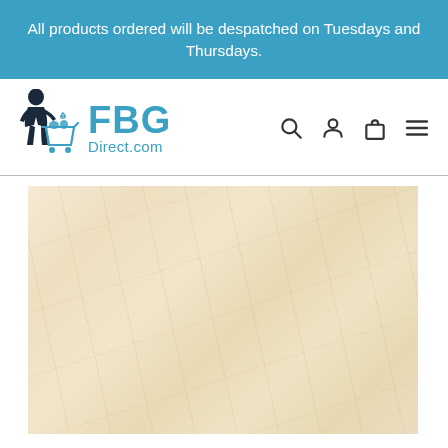All products ordered will be despatched on Tuesdays and Thursdays.
[Figure (logo): FBG Direct.com logo featuring a child silhouette pushing a shopping cart with groceries and an ice cream, accompanied by blue text reading FBG Direct.com, with navigation icons for search, account, cart, and menu]
[Figure (photo): A light cream/beige colored product image or texture background, appearing to show a plain or lightly textured surface in warm off-white tones]